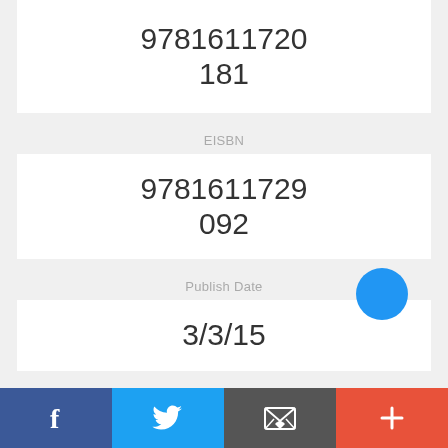9781611720181
EISBN
9781611729092
Publish Date
3/3/15
# of Pages
1200
f  [twitter]  [email]  +